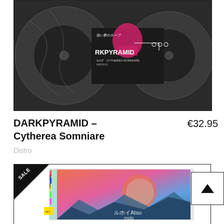[Figure (photo): Photo of a 2x12 vinyl record for DARKPYRAMID - Cytherea Somniare, showing dark marbled record sleeve with pink/magenta graphic and Japanese text]
DARKPYRAMID – Cytherea Somniare
€32.95
Distro
[Figure (photo): Photo of a CD/album with colorful gradient artwork (pink, orange, blue tones) with Japanese text on spine, with a SALE badge in top-left corner]
[Figure (other): Scroll-to-top button with upward arrow]